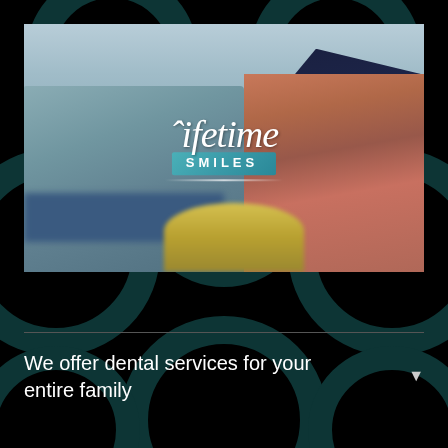[Figure (photo): Blurred exterior photo of a dental office building (Lifetime Smiles) with brick construction, trees, and landscaping. The Lifetime Smiles logo is overlaid in the center of the image.]
We offer dental services for your entire family